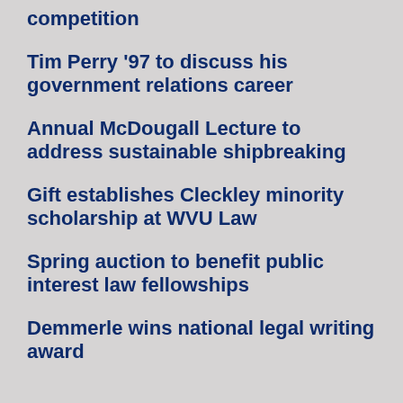competition
Tim Perry '97 to discuss his government relations career
Annual McDougall Lecture to address sustainable shipbreaking
Gift establishes Cleckley minority scholarship at WVU Law
Spring auction to benefit public interest law fellowships
Demmerle wins national legal writing award